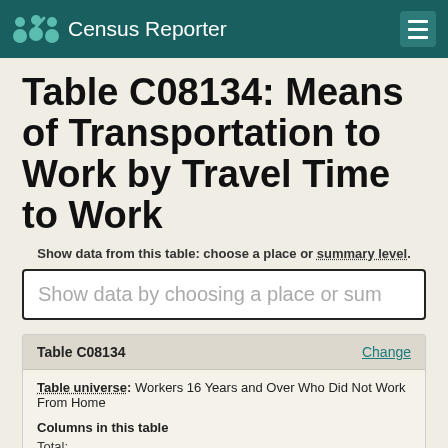Census Reporter
Table C08134: Means of Transportation to Work by Travel Time to Work
Show data from this table: choose a place or summary level.
Show data by choosing a place or sum
| Table C08134 | Change |
| --- | --- |
| Table universe: Workers 16 Years and Over Who Did Not Work From Home |  |
| Columns in this table |  |
| Total: |  |
| Less than 10 minutes |  |